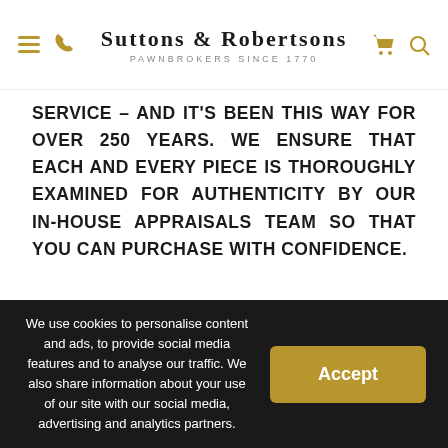Suttons & Robertsons — Pawnbrokers Since 1770
SERVICE – AND IT'S BEEN THIS WAY FOR OVER 250 YEARS. WE ENSURE THAT EACH AND EVERY PIECE IS THOROUGHLY EXAMINED FOR AUTHENTICITY BY OUR IN-HOUSE APPRAISALS TEAM SO THAT YOU CAN PURCHASE WITH CONFIDENCE.
OUR SHOP LOCATIONS
We use cookies to personalise content and ads, to provide social media features and to analyse our traffic. We also share information about your use of our site with our social media, advertising and analytics partners.